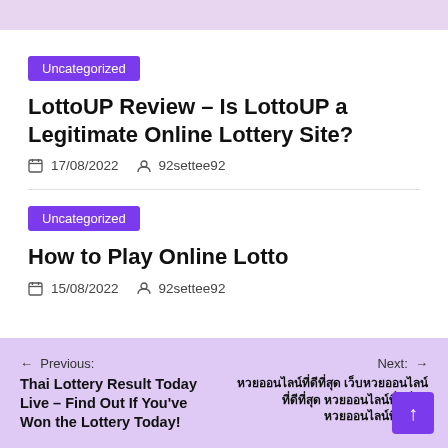Uncategorized
LottoUP Review – Is LottoUP a Legitimate Online Lottery Site?
17/08/2022   92settee92
Uncategorized
How to Play Online Lotto
15/08/2022   92settee92
Previous: Thai Lottery Result Today Live – Find Out If You've Won the Lottery Today!   Next: [Thai text]